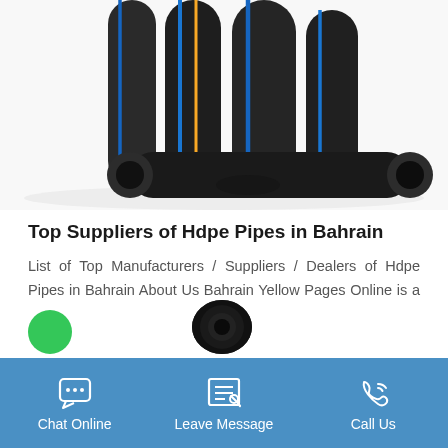[Figure (photo): Multiple black HDPE pipes bundled together, some with blue and yellow stripes, arranged at angles against a white background]
Top Suppliers of Hdpe Pipes in Bahrain
List of Top Manufacturers / Suppliers / Dealers of Hdpe Pipes in Bahrain About Us Bahrain Yellow Pages Online is a Local Business to Business Directory in Bahrain offering business list of more than 250,000 companies.
[Figure (photo): Partial view of a black round pipe/tube and a green avatar circle at the bottom of the page]
Chat Online   Leave Message   Call Us